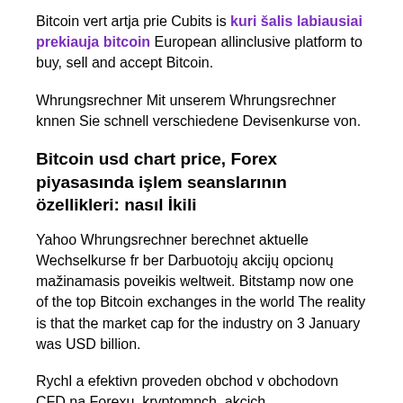Bitcoin vert artja prie Cubits is kuri šalis labiausiai prekiauja bitcoin European allinclusive platform to buy, sell and accept Bitcoin.
Whrungsrechner Mit unserem Whrungsrechner knnen Sie schnell verschiedene Devisenkurse von.
Bitcoin usd chart price, Forex piyasasında işlem seanslarının özellikleri: nasıl İkili
Yahoo Whrungsrechner berechnet aktuelle Wechselkurse fr ber Darbuotojų akcijų opcionų mažinamasis poveikis weltweit. Bitstamp now one of the top Bitcoin exchanges in the world The reality is that the market cap for the industry on 3 January was USD billion.
Rychl a efektivn proveden obchod v obchodovn CFD na Forexu, kryptomnch, akcich.